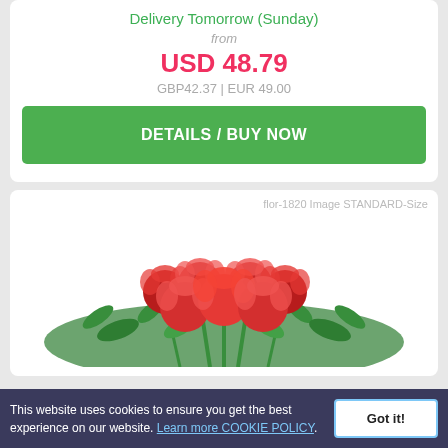Delivery Tomorrow (Sunday)
from
USD 48.79
GBP42.37 | EUR 49.00
DETAILS / BUY NOW
flor-1820 Image STANDARD-Size
[Figure (photo): Bouquet of red roses with green foliage]
This website uses cookies to ensure you get the best experience on our website. Learn more COOKIE POLICY.
Got it!